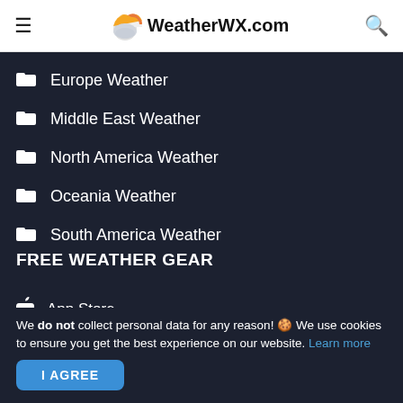WeatherWX.com
Europe Weather
Middle East Weather
North America Weather
Oceania Weather
South America Weather
FREE WEATHER GEAR
App Store
Google Play
We do not collect personal data for any reason! 🍪 We use cookies to ensure you get the best experience on our website. Learn more